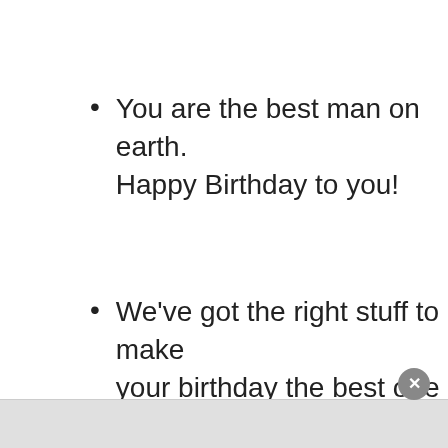You are the best man on earth. Happy Birthday to you!
We've got the right stuff to make your birthday the best one yet.
Happy Birthday! All the best for a